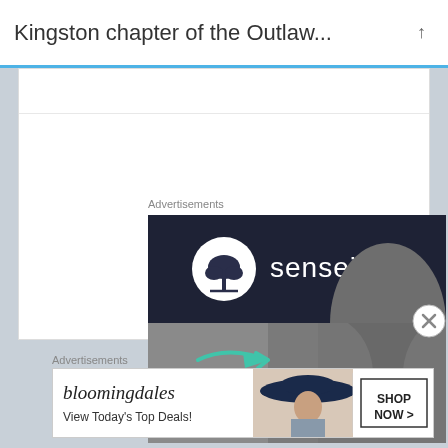Kingston chapter of the Outlaw...
Advertisements
[Figure (advertisement): Sensei brand advertisement with dark navy header containing the Sensei logo (white circle with bonsai tree icon and 'sensei' text), and lower portion showing a gray-toned photo of a person's torso/neck with two teal/turquoise arrow graphics pointing right]
Advertisements
[Figure (advertisement): Bloomingdale's advertisement banner with logo text 'bloomingdales', tagline 'View Today's Top Deals!', image of woman in wide brim hat, and 'SHOP NOW >' button]